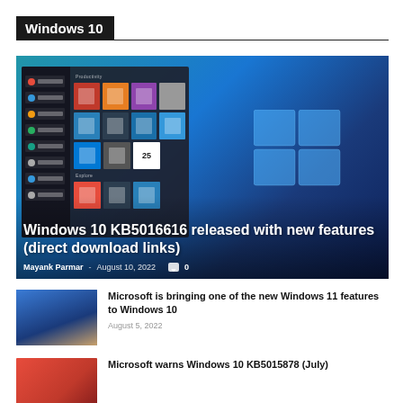Windows 10
[Figure (screenshot): Featured article image showing Windows 10 Start Menu screenshot with Windows logo, overlaid with article title and author metadata]
Windows 10 KB5016616 released with new features (direct download links)
Mayank Parmar - August 10, 2022  0
[Figure (photo): Thumbnail showing a laptop with Windows 10 on a surface]
Microsoft is bringing one of the new Windows 11 features to Windows 10
August 5, 2022
[Figure (photo): Thumbnail with red background for second article]
Microsoft warns Windows 10 KB5015878 (July)